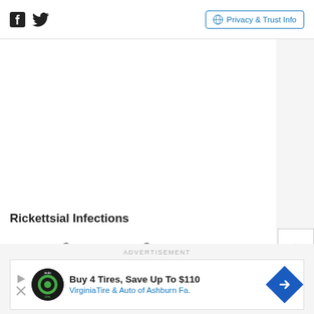Social icons (Facebook, Twitter) and Privacy & Trust Info button
Rickettsial Infections
ACTICLATE® and ACTICLATE® CAP are indicated for
[Figure (infographic): Advertisement banner: Buy 4 Tires, Save Up To $110 - VirginiaTire & Auto of Ashburn Fa.]